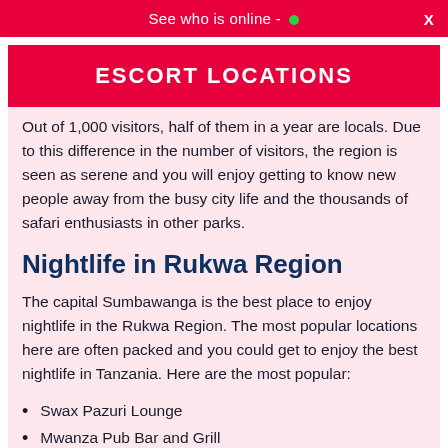See who is online - •  X
ESCORT LOCATIONS
Out of 1,000 visitors, half of them in a year are locals. Due to this difference in the number of visitors, the region is seen as serene and you will enjoy getting to know new people away from the busy city life and the thousands of safari enthusiasts in other parks.
Nightlife in Rukwa Region
The capital Sumbawanga is the best place to enjoy nightlife in the Rukwa Region. The most popular locations here are often packed and you could get to enjoy the best nightlife in Tanzania. Here are the most popular:
Swax Pazuri Lounge
Mwanza Pub Bar and Grill
Downtown Bar